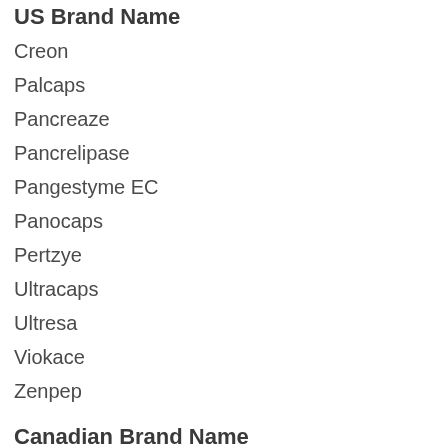US Brand Name
Creon
Palcaps
Pancreaze
Pancrelipase
Pangestyme EC
Panocaps
Pertzye
Ultracaps
Ultresa
Viokace
Zenpep
Canadian Brand Name
Viokase
Descriptions